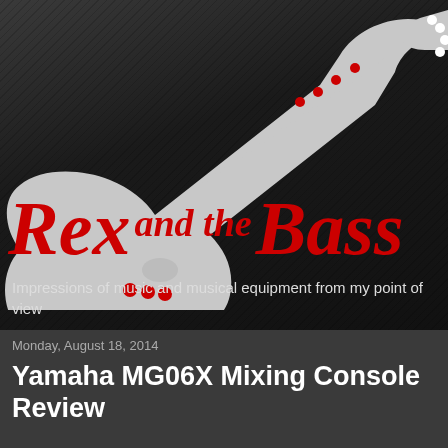[Figure (logo): Rex and the Bass blog logo featuring a light gray electric guitar silhouette on a dark diagonal-striped background. Text reads 'Rex and the Bass' in large red italic serif font overlaid on the guitar body.]
Impressions of music and musical equipment from my point of view
Monday, August 18, 2014
Yamaha MG06X Mixing Console Review